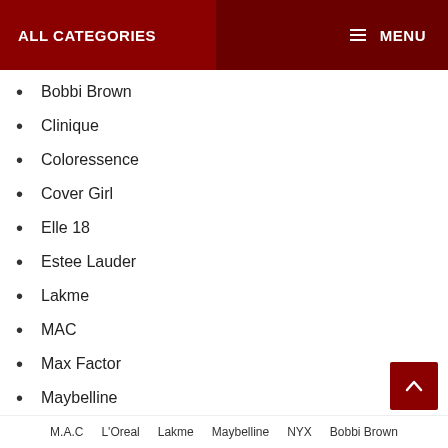ALL CATEGORIES   MENU
Bobbi Brown
Clinique
Coloressence
Cover Girl
Elle 18
Estee Lauder
Lakme
MAC
Max Factor
Maybelline
Oriflame
Revlon
L'Oreal
M.A.C   L'Oreal   Lakme   Maybelline   NYX   Bobbi Brown